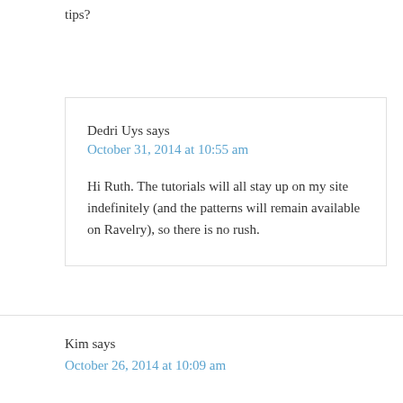tips?
Reply
Dedri Uys says
October 31, 2014 at 10:55 am
Hi Ruth. The tutorials will all stay up on my site indefinitely (and the patterns will remain available on Ravelry), so there is no rush.
Kim says
October 26, 2014 at 10:09 am